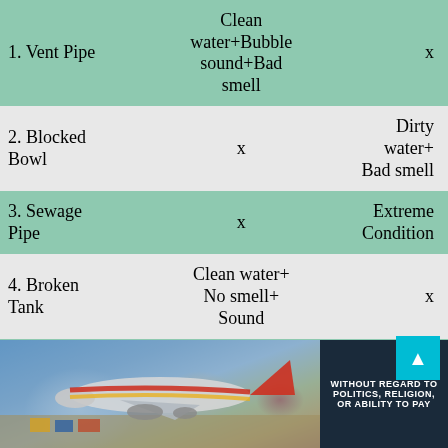| Item | Symptoms | Result |
| --- | --- | --- |
| 1. Vent Pipe | Clean water+Bubble sound+Bad smell | x |
| 2. Blocked Bowl | x | Dirty water+ Bad smell |
| 3. Sewage Pipe | x | Extreme Condition |
| 4. Broken Tank | Clean water+ No smell+ Sound | x |
| 5. ... | Water... |  |
[Figure (photo): Advertisement banner showing an airplane being loaded with cargo, with text 'WITHOUT REGARD TO POLITICS, RELIGION, OR ABILITY TO PAY']